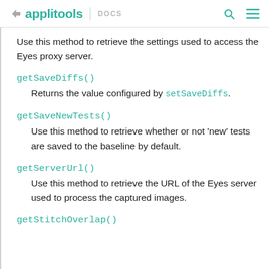applitools DOCS
Use this method to retrieve the settings used to access the Eyes proxy server.
getSaveDiffs()
Returns the value configured by setSaveDiffs.
getSaveNewTests()
Use this method to retrieve whether or not 'new' tests are saved to the baseline by default.
getServerUrl()
Use this method to retrieve the URL of the Eyes server used to process the captured images.
getStitchOverlap()